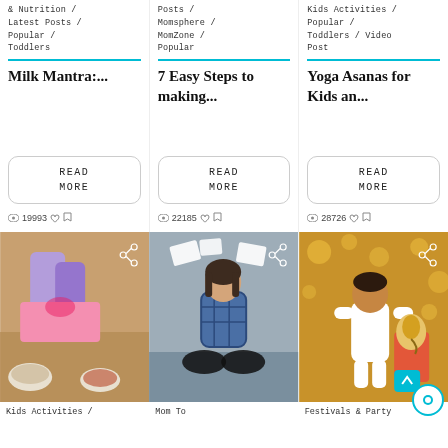& Nutrition / Latest Posts / Popular / Toddlers
Milk Mantra:...
READ MORE
19993
Posts / Momsphere / MomZone / Popular
7 Easy Steps to making...
READ MORE
22185
Kids Activities / Popular / Toddlers / Video Post
Yoga Asanas for Kids an...
READ MORE
28726
[Figure (photo): Person in purple gloves working with pink tray and bowls of ingredients on wooden table]
Kids Activities /
[Figure (photo): Woman sitting cross-legged in meditation pose with papers flying around her]
Mom To
[Figure (photo): Child in white kurta sitting next to Ganesha idol against golden bokeh background]
Festivals & Party